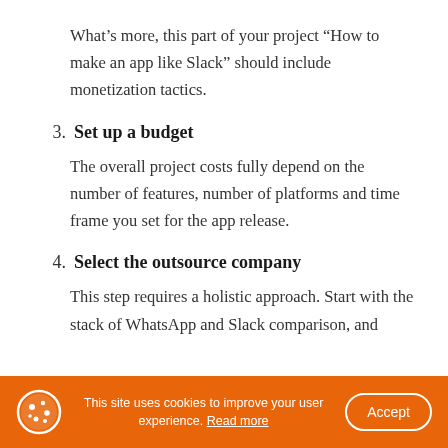What’s more, this part of your project “How to make an app like Slack” should include monetization tactics.
3. Set up a budget
The overall project costs fully depend on the number of features, number of platforms and time frame you set for the app release.
4. Select the outsource company
This step requires a holistic approach. Start with the stack of WhatsApp and Slack comparison, and
This site uses cookies to improve your user experience. Read more  Accept